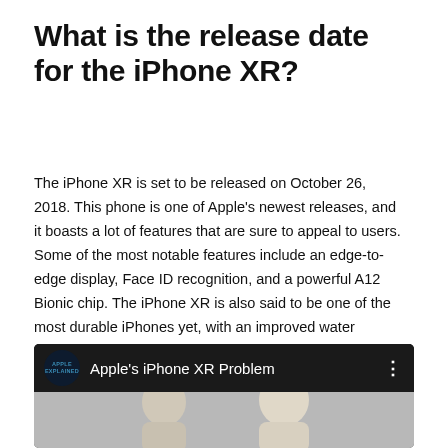What is the release date for the iPhone XR?
The iPhone XR is set to be released on October 26, 2018. This phone is one of Apple's newest releases, and it boasts a lot of features that are sure to appeal to users. Some of the most notable features include an edge-to-edge display, Face ID recognition, and a powerful A12 Bionic chip. The iPhone XR is also said to be one of the most durable iPhones yet, with an improved water resistance rating.
[Figure (screenshot): YouTube video thumbnail showing 'Apple's iPhone XR Problem' by Apple Explained channel, with a dark top bar containing the channel logo and title, and a gray image area below showing people.]